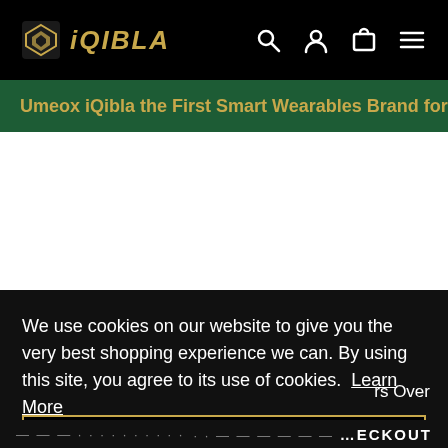iQIBLA — navigation bar with logo, search, account, cart, and menu icons
Umeox iQibla – the First Smart Wearables Brand for Muslim !
We use cookies on our website to give you the very best shopping experience we can. By using this site, you agree to its use of cookies. Learn More
Got it!
...ECKOUT